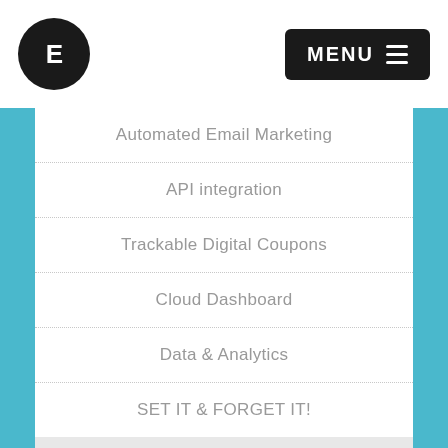E | MENU
Automated Email Marketing
API integration
Trackable Digital Coupons
Cloud Dashboard
Data & Analytics
SET IT & FORGET IT!
Click/Tap To Get More Information